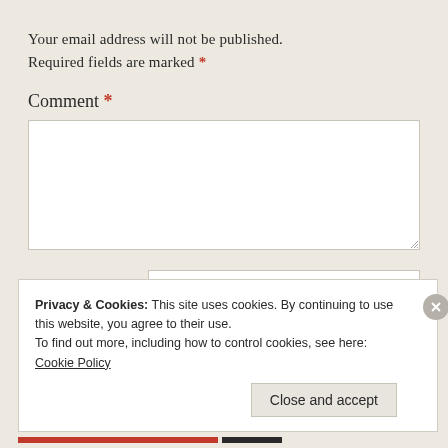Your email address will not be published. Required fields are marked *
Comment *
[Figure (screenshot): Empty comment textarea input box with resize handle]
Name *
[Figure (screenshot): Empty name text input field]
Email *
[Figure (screenshot): Empty email text input field]
Privacy & Cookies: This site uses cookies. By continuing to use this website, you agree to their use.
To find out more, including how to control cookies, see here:
Cookie Policy
Close and accept